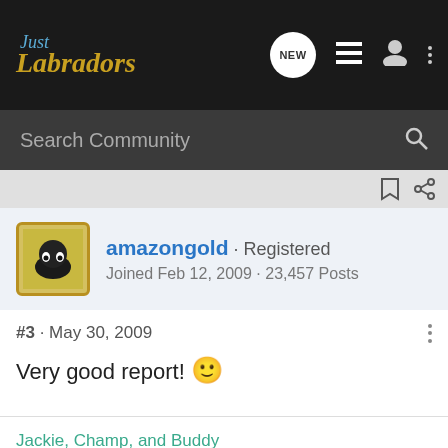Just Labradors
Search Community
amazongold · Registered
Joined Feb 12, 2009 · 23,457 Posts
#3 · May 30, 2009
Very good report! 🙂
Jackie, Champ, and Buddy